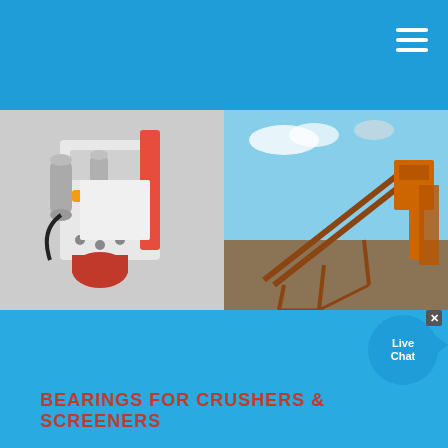[Figure (photo): Two photos side by side: left shows close-up of industrial crusher machinery with red and silver metal parts and cylinders; right shows outdoor mining/quarrying equipment including a large rusty conveyor structure against a cloudy sky]
BEARINGS FOR CRUSHERS & SCREENERS
Bearings. Northern Crusher Spares offer bearings for , Extec, Finlay and Fintec crushing and screening machinery. Contact us to get a quote for bearings. Showing 1–12 of 266 results.